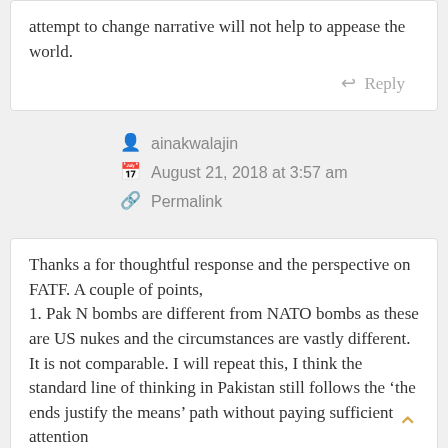attempt to change narrative will not help to appease the world.
Reply
ainakwalajin
August 21, 2018 at 3:57 am
Permalink
Thanks a for thoughtful response and the perspective on FATF. A couple of points,
1. Pak N bombs are different from NATO bombs as these are US nukes and the circumstances are vastly different. It is not comparable. I will repeat this, I think the standard line of thinking in Pakistan still follows the 'the ends justify the means' path without paying sufficient attention to the consequences of getting there and this